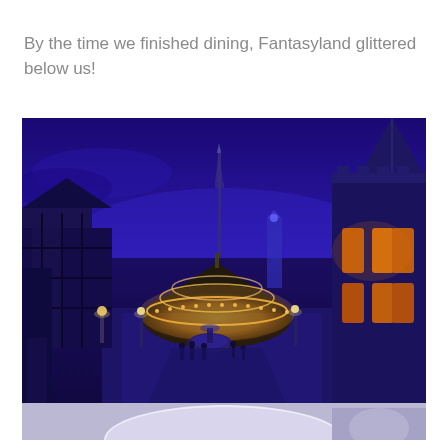By the time we finished dining, Fantasyland glittered below us!
[Figure (photo): Nighttime aerial view of Fantasyland at a Disney theme park, showing a glittering carousel with warm golden lights at center, a tall spire in the background, a Gothic-style church building on the right with illuminated stained glass windows, medieval-style buildings on the left, people walking in the plaza, all under a deep blue twilight sky. The bottom of the image shows a white circular table edge partially cropped in.]